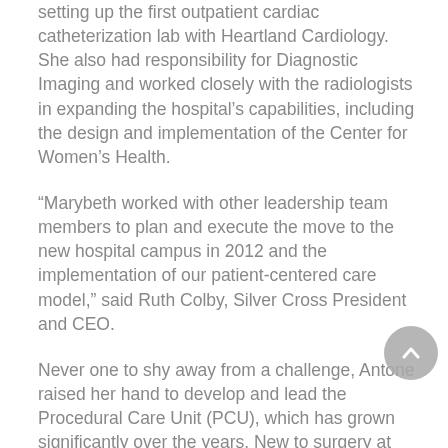setting up the first outpatient cardiac catheterization lab with Heartland Cardiology. She also had responsibility for Diagnostic Imaging and worked closely with the radiologists in expanding the hospital's capabilities, including the design and implementation of the Center for Women's Health.
“Marybeth worked with other leadership team members to plan and execute the move to the new hospital campus in 2012 and the implementation of our patient-centered care model,” said Ruth Colby, Silver Cross President and CEO.
Never one to shy away from a challenge, Antone raised her hand to develop and lead the Procedural Care Unit (PCU), which has grown significantly over the years. New to surgery at the time, she worked with her team to introduce the first DaVinci Robot just two months after the move.